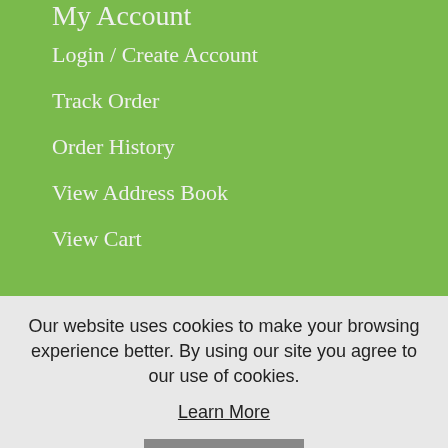My Account
Login / Create Account
Track Order
Order History
View Address Book
View Cart
Our website uses cookies to make your browsing experience better. By using our site you agree to our use of cookies.
Learn More
I Agree